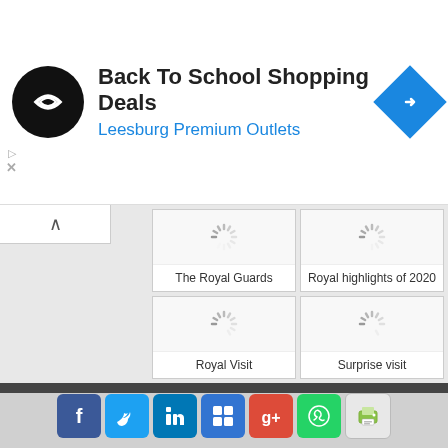[Figure (screenshot): Advertisement banner: Back To School Shopping Deals at Leesburg Premium Outlets with logo and direction icon]
[Figure (screenshot): Grid of four video thumbnails with loading spinners: The Royal Guards, Royal highlights of 2020, Royal Visit, Surprise visit]
[Figure (screenshot): Footer social share bar with Facebook, Twitter, LinkedIn, Delicious, Google+, WhatsApp, and Print icons]